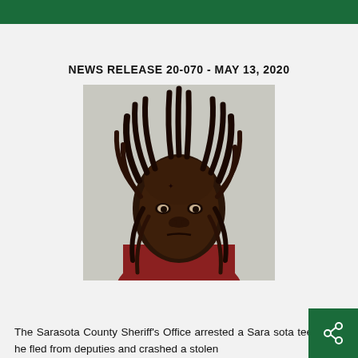NEWS RELEASE 20-070 - MAY 13, 2020
[Figure (photo): Mugshot of a young Black male with dreadlocks wearing a dark red shirt, taken against a light gray background]
The Sarasota County Sheriff's Office arrested a Sarasota teen after he fled from deputies and crashed a stolen